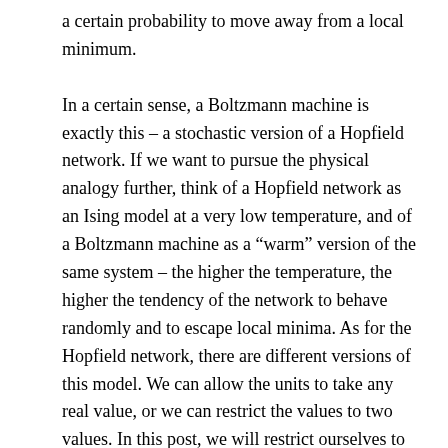a certain probability to move away from a local minimum.

In a certain sense, a Boltzmann machine is exactly this – a stochastic version of a Hopfield network. If we want to pursue the physical analogy further, think of a Hopfield network as an Ising model at a very low temperature, and of a Boltzmann machine as a “warm” version of the same system – the higher the temperature, the higher the tendency of the network to behave randomly and to escape local minima. As for the Hopfield network, there are different versions of this model. We can allow the units to take any real value, or we can restrict the values to two values. In this post, we will restrict ourselves to binary units. Thus we consider a set of N binary units, taking values -1 and +1, so that our state space is again